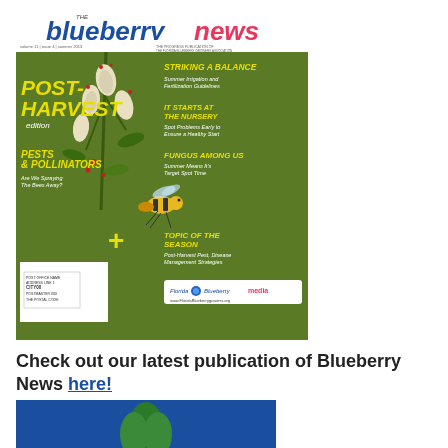[Figure (illustration): Magazine cover of 'The Blueberry News' — Post-Harvest edition. Green background with blueberry flowers and a bee. Features article teasers: 'Striking a Balance', 'It Starts at the Nursery', 'Fungus Among Us', 'Pests & Pollinators', 'Topic of the Season'. Florida Blueberry Growers Association publication.]
Check out our latest publication of Blueberry News here!
[Figure (illustration): Bottom blue banner/strip — partial view of another publication or banner in blue.]